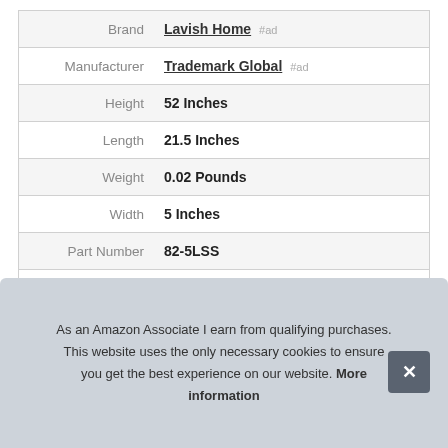| Attribute | Value |
| --- | --- |
| Brand | Lavish Home #ad |
| Manufacturer | Trademark Global #ad |
| Height | 52 Inches |
| Length | 21.5 Inches |
| Weight | 0.02 Pounds |
| Width | 5 Inches |
| Part Number | 82-5LSS |
| Model | 82-5LSS |
| Warranty | Na. |
As an Amazon Associate I earn from qualifying purchases. This website uses the only necessary cookies to ensure you get the best experience on our website. More information